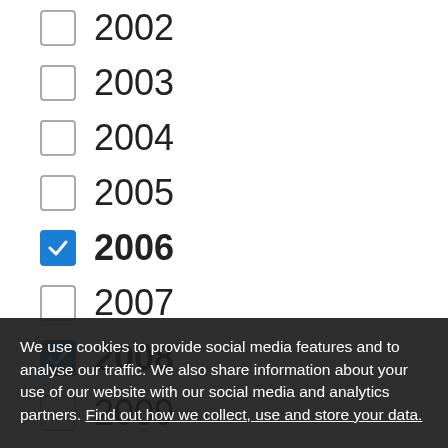2002 (unchecked)
2003 (unchecked)
2004 (unchecked)
2005 (unchecked)
2006 (checked)
2007 (unchecked)
2008 (checked)
2009 (unchecked)
2010 (unchecked)
2011 (unchecked)
2012 (unchecked)
2013 (unchecked)
2014 (unchecked, partially visible)
2015 (partially visible behind banner)
2016 (partially visible behind banner)
2017 (partially visible behind banner)
2018 (partially visible)
We use cookies to provide social media features and to analyse our traffic. We also share information about your use of our website with our social media and analytics partners. Find out how we collect, use and store your data.